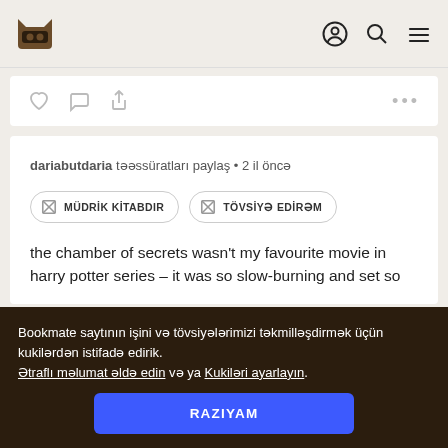Bookmate navigation bar with logo, user icon, search icon, menu icon
[Figure (screenshot): Top card with like, comment, share icons and ellipsis menu]
dariabutdaria təəssüratları paylaş • 2 il öncə
MÜDRİK KİTABDIR   TÖVSİYƏ EDİRƏM
the chamber of secrets wasn't my favourite movie in harry potter series – it was so slow-burning and set so
Bookmate saytının işini və tövsiyələrimizi təkmilləşdirmək üçün kukilərdən istifadə edirik.
Ətraflı məlumat əldə edin və ya Kukiləri ayarlayın.
RAZIYAM